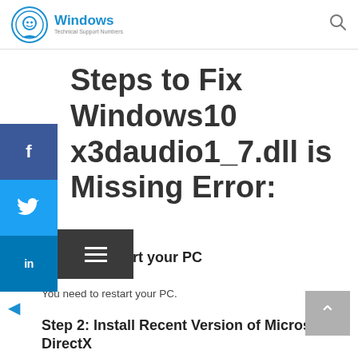Windows Technical Support Numbers
Steps to Fix Windows10 x3daudio1_7.dll is Missing Error:
Step 1: Restart your PC
You need to restart your PC.
Step 2: Install Recent Version of Microsoft DirectX
You need to install recent version of Micrsoft DirectX on your computer system.